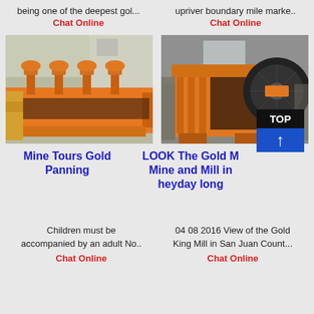being one of the deepest gol...
Chat Online
upriver boundary mile marke..
Chat Online
[Figure (photo): Orange flotation machine / mining equipment in industrial setting]
[Figure (photo): Orange jaw crusher mining machine in industrial warehouse]
Mine Tours Gold Panning
LOOK The Gold Mine and Mill in heyday long
Children must be accompanied by an adult No..
Chat Online
04 08 2016  View of the Gold King Mill in San Juan Count...
Chat Online